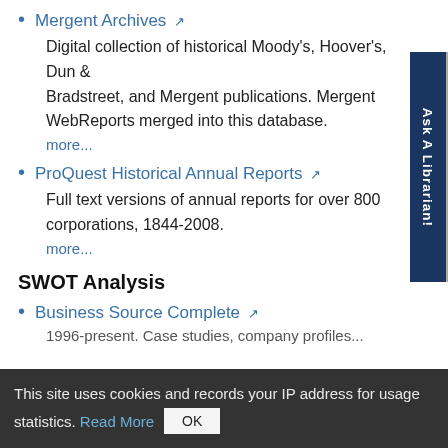Mergent Archives
Digital collection of historical Moody's, Hoover's, Dun & Bradstreet, and Mergent publications. Mergent WebReports merged into this database.
more...
ProQuest Historical Annual Reports
Full text versions of annual reports for over 800 corporations, 1844-2008.
more...
SWOT Analysis
Business Source Complete
1996-present. Case studies, company profiles...
This site uses cookies and records your IP address for usage statistics. Read More  OK